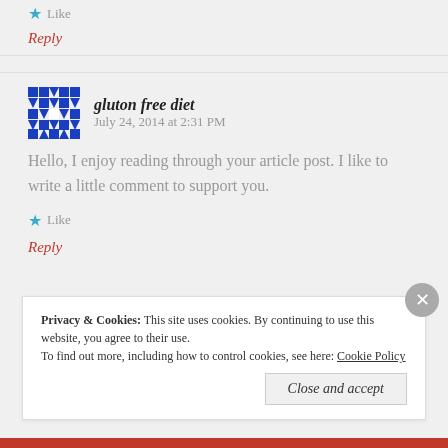Like
Reply
gluton free diet   July 24, 2014 at 2:31 PM
Hello, I enjoy reading through your article post. I like to write a little comment to support you.
Like
Reply
Privacy & Cookies:  This site uses cookies. By continuing to use this website, you agree to their use.
To find out more, including how to control cookies, see here: Cookie Policy
Close and accept